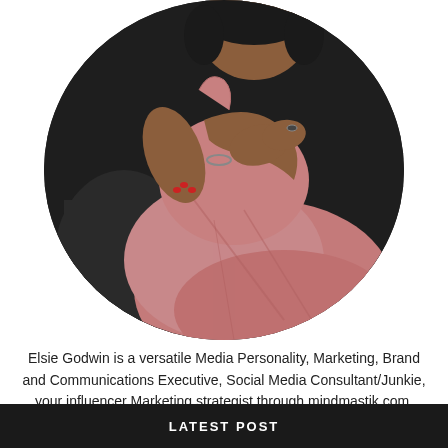[Figure (photo): A circular cropped portrait photo of a woman wearing a pink/mauve dress, posed seated against a dark studio background. She has red nail polish and is wearing rings and a bracelet.]
Elsie Godwin is a versatile Media Personality, Marketing, Brand and Communications Executive, Social Media Consultant/Junkie, your influencer Marketing strategist through mindmastik.com, Travel and fitness Lover and a witty extra ordinary sweet girl.
LATEST POST